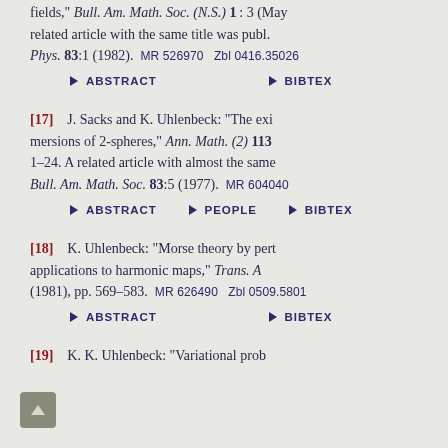fields," Bull. Am. Math. Soc. (N.S.) 1:3 (May related article with the same title was publ. Phys. 83:1 (1982). MR 526970 Zbl 0416.35026
ABSTRACT  BIBTEX
[17] J. Sacks and K. Uhlenbeck: "The exi mersions of 2-spheres," Ann. Math. (2) 113 1–24. A related article with almost the same Bull. Am. Math. Soc. 83:5 (1977). MR 604040
ABSTRACT  PEOPLE  BIBTEX
[18] K. Uhlenbeck: "Morse theory by pert applications to harmonic maps," Trans. A (1981), pp. 569–583. MR 626490 Zbl 0509.5801
ABSTRACT  BIBTEX
[19] K. K. Uhlenbeck: "Variational prob